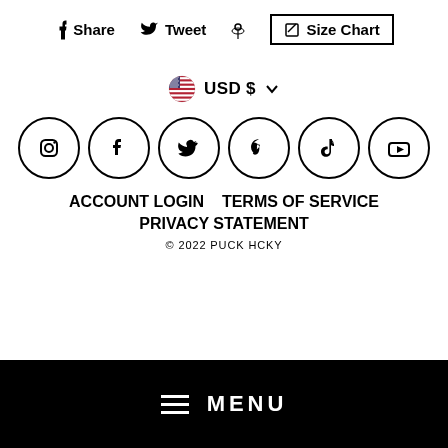Share   Tweet   Size Chart
USD $
[Figure (illustration): Row of 6 social media icon circles: Instagram, Facebook, Twitter, Pinterest, TikTok, YouTube]
ACCOUNT LOGIN   TERMS OF SERVICE
PRIVACY STATEMENT
© 2022 PUCK HCKY
≡ MENU